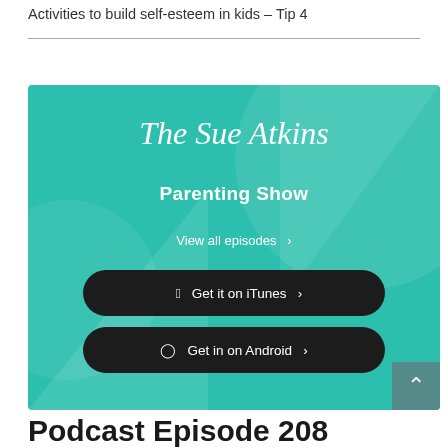Activities to build self-esteem in kids – Tip 4
[Figure (screenshot): The Sue Atkins Parenting Show podcast banner on teal/turquoise background with buttons: 'View all episodes', 'Get it on iTunes', 'Get in on Android'. Script/cursive title at top, bold sans-serif subtitle below.]
Podcast Episode 208